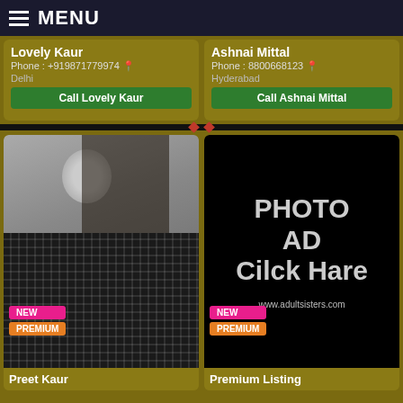MENU
Lovely Kaur
Phone : +919871779974
Delhi
Ashnai Mittal
Phone : 8800668123
Hyderabad
Call Lovely Kaur
Call Ashnai Mittal
[Figure (photo): Photo of Preet Kaur, young woman in plaid shirt, with NEW and PREMIUM badges]
[Figure (infographic): Black box with text: PHOTO AD Cilck Hare, www.adultsisters.com, with NEW and PREMIUM badges]
Preet Kaur
Premium Listing